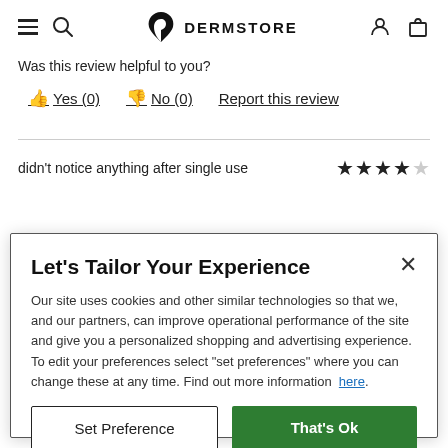DERMSTORE navigation header with hamburger menu, search icon, logo, user icon, and cart icon
Was this review helpful to you?
👍 Yes (0)   👎 No (0)   Report this review
didn't notice anything after single use   ★★★★☆
Let's Tailor Your Experience
Our site uses cookies and other similar technologies so that we, and our partners, can improve operational performance of the site and give you a personalized shopping and advertising experience. To edit your preferences select "set preferences" where you can change these at any time. Find out more information here.
Set Preference   That's Ok